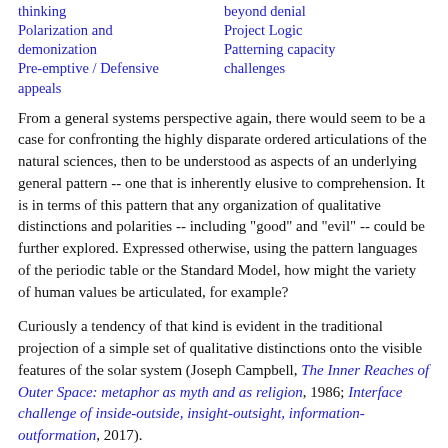thinking
beyond denial
Polarization and demonization
Project Logic
Patterning capacity challenges
Pre-emptive / Defensive appeals
From a general systems perspective again, there would seem to be a case for confronting the highly disparate ordered articulations of the natural sciences, then to be understood as aspects of an underlying general pattern -- one that is inherently elusive to comprehension. It is in terms of this pattern that any organization of qualitative distinctions and polarities -- including "good" and "evil" -- could be further explored. Expressed otherwise, using the pattern languages of the periodic table or the Standard Model, how might the variety of human values be articulated, for example?
Curiously a tendency of that kind is evident in the traditional projection of a simple set of qualitative distinctions onto the visible features of the solar system (Joseph Campbell, The Inner Reaches of Outer Space: metaphor as myth and as religion, 1986; Interface challenge of inside-outside, insight-outsight, information-outformation, 2017).
Ordering resilience of distinctions